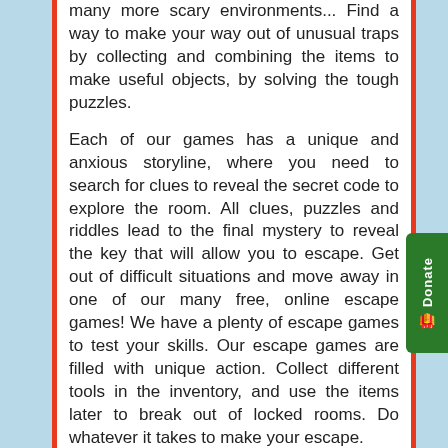many more scary environments... Find a way to make your way out of unusual traps by collecting and combining the items to make useful objects, by solving the tough puzzles.
Each of our games has a unique and anxious storyline, where you need to search for clues to reveal the secret code to explore the room. All clues, puzzles and riddles lead to the final mystery to reveal the key that will allow you to escape. Get out of difficult situations and move away in one of our many free, online escape games! We have a plenty of escape games to test your skills. Our escape games are filled with unique action. Collect different tools in the inventory, and use the items later to break out of locked rooms. Do whatever it takes to make your escape.
Apart from escape games, Top10newgames has other best free online games that includes arcade games, dress-up games, hidden object games, shooting games, racing games, and much more. Play every genre of Games on the One-and-Only top10newgames! We have got all fresh games which make you feel like turning on. Includes free online games! Find new hot games every day with reviews and ratings available at all skill levels. This is the best place on the web to play games for free.
Your privacy is important to us.